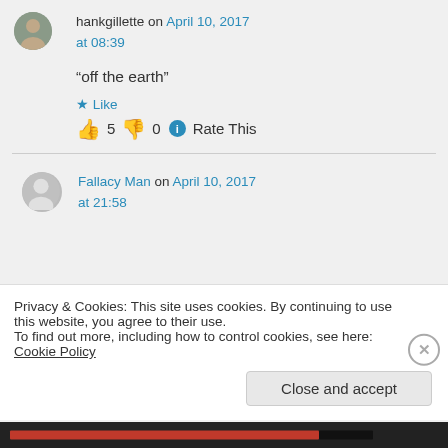hankgillette on April 10, 2017 at 08:39
“off the earth”
★ Like
👍 5 👎 0 ⓘ Rate This
Fallacy Man on April 10, 2017 at 21:58
Privacy & Cookies: This site uses cookies. By continuing to use this website, you agree to their use.
To find out more, including how to control cookies, see here: Cookie Policy
Close and accept